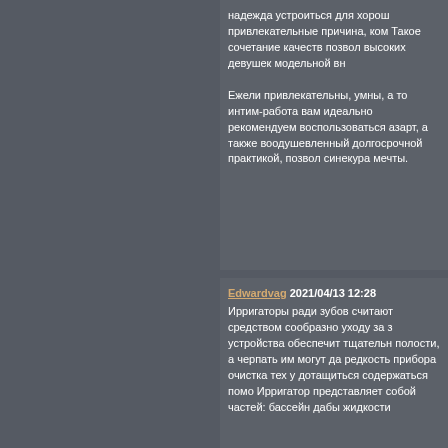надежда устроиться для хорош привлекательные причина, ком Такое сочетание качеств позвол высоких девушек модельной вн

Ежели привлекательны, умны, а то интим-работа вам идеально рекомендуем воспользоваться азарт, а также воодушевленный долгосрочной практикой, позво синекура мечты.
Edwardvag 2021/04/13 12:28
Ирригаторы ради зубов считают средством сообразно уходу за з устройства обеспечит тщательн полости, а черпать им могут да редкость прибора очистка тех у дотащиться содержаться помо Ирригатор представляет собой частей: бассейн дабы жидкости